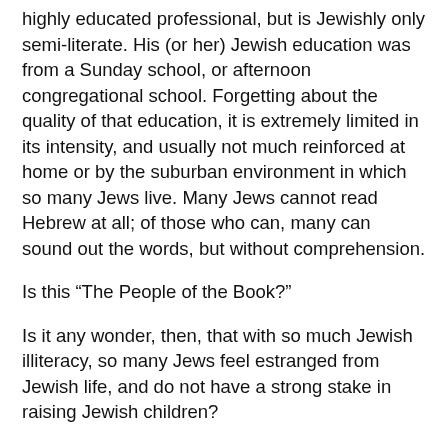highly educated professional, but is Jewishly only semi-literate. His (or her) Jewish education was from a Sunday school, or afternoon congregational school. Forgetting about the quality of that education, it is extremely limited in its intensity, and usually not much reinforced at home or by the suburban environment in which so many Jews live. Many Jews cannot read Hebrew at all; of those who can, many can sound out the words, but without comprehension.
Is this “The People of the Book?”
Is it any wonder, then, that with so much Jewish illiteracy, so many Jews feel estranged from Jewish life, and do not have a strong stake in raising Jewish children?